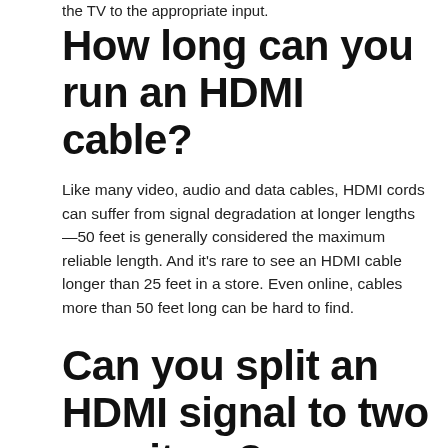the TV to the appropriate input.
How long can you run an HDMI cable?
Like many video, audio and data cables, HDMI cords can suffer from signal degradation at longer lengths—50 feet is generally considered the maximum reliable length. And it's rare to see an HDMI cable longer than 25 feet in a store. Even online, cables more than 50 feet long can be hard to find.
Can you split an HDMI signal to two monitors?